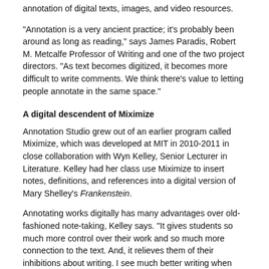annotation of digital texts, images, and video resources.
“Annotation is a very ancient practice; it’s probably been around as long as reading,” says James Paradis, Robert M. Metcalfe Professor of Writing and one of the two project directors. “As text becomes digitized, it becomes more difficult to write comments. We think there’s value to letting people annotate in the same space.”
A digital descendent of Miximize
Annotation Studio grew out of an earlier program called Miximize, which was developed at MIT in 2010-2011 in close collaboration with Wyn Kelley, Senior Lecturer in Literature. Kelley had her class use Miximize to insert notes, definitions, and references into a digital version of Mary Shelley’s Frankenstein.
Annotating works digitally has many advantages over old-fashioned note-taking, Kelley says. “It gives students so much more control over their work and so much more connection to the text. And, it relieves them of their inhibitions about writing. I see much better writing when our students use digital annotation.”
Of the annotation tools, one of Kelley’s students says, "I am actually writing down ideas while reading, and by writing them down I’m looking deeper into the text — not like when I just read the book and said, ‘Oh, it may mean this.’ Now it’s more, ‘Oh what does this mean?” Then I keep asking questions because I am annotating. I am thinking about the text more."